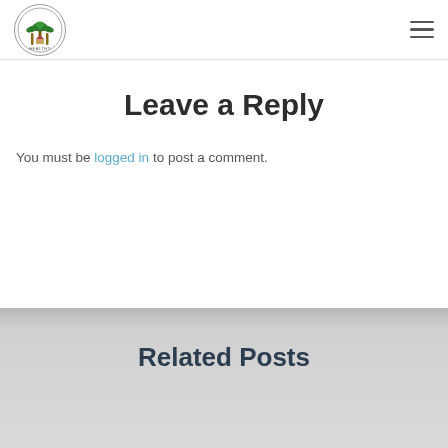[Figure (logo): Circular logo with palm trees and text 'HEALTHY' at bottom]
Leave a Reply
You must be logged in to post a comment.
Related Posts